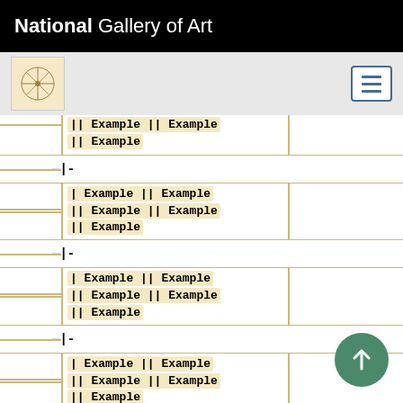National Gallery of Art
[Figure (screenshot): Navigation bar with art icon and hamburger menu button]
|| Example || Example
|| Example
|-
| Example || Example
—|| Example || Example
|| Example
|-
| Example || Example
—|| Example || Example
|| Example
|-
| Example || Example
—|| Example || Example
|| Example